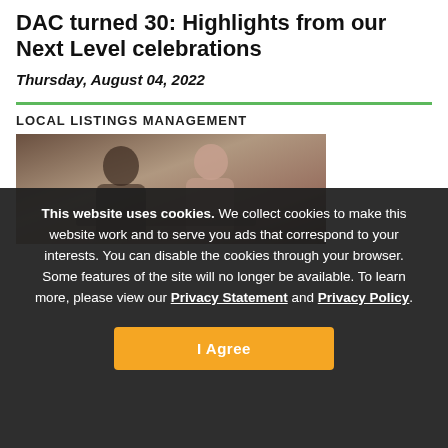DAC turned 30: Highlights from our Next Level celebrations
Thursday, August 04, 2022
LOCAL LISTINGS MANAGEMENT
[Figure (photo): Photo of two young people looking at something together, partially obscured by cookie consent overlay]
This website uses cookies. We collect cookies to make this website work and to serve you ads that correspond to your interests. You can disable the cookies through your browser. Some features of the site will no longer be available. To learn more, please view our Privacy Statement and Privacy Policy.
I Agree